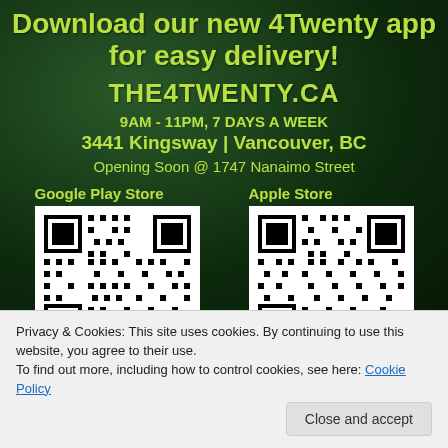Download our new 4Twenty app for easy delivery!
THE4TWENTY.CA
9AM - 11PM, 7 DAYS A WEEK
3441 Kingsway | Vancouver, BC
Opening Soon @ 1747 Nanaimo Street
[Figure (other): QR code for Google Play Store download of 4Twenty app]
[Figure (other): QR code for Apple Store download of 4Twenty app]
Privacy & Cookies: This site uses cookies. By continuing to use this website, you agree to their use.
To find out more, including how to control cookies, see here: Cookie Policy